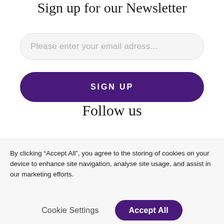Sign up for our Newsletter
Please enter your email adress...
SIGN UP
Follow us
By clicking “Accept All”, you agree to the storing of cookies on your device to enhance site navigation, analyse site usage, and assist in our marketing efforts.
Cookie Settings
Accept All